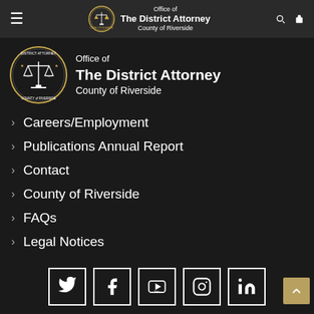Office of The District Attorney County of Riverside
[Figure (logo): District Attorney County of Riverside official seal/logo with scales of justice]
Office of
The District Attorney
County of Riverside
Careers/Employment
Publications Annual Report
Contact
County of Riverside
FAQs
Legal Notices
Social media links: Twitter, Facebook, YouTube, Instagram, LinkedIn